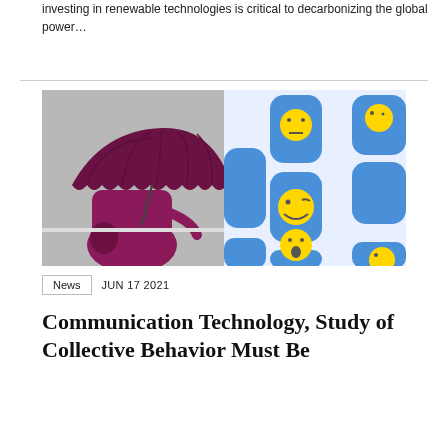investing in renewable technologies is critical to decarbonizing the global power…
[Figure (photo): Split composite image: left half shows a person in a pink/magenta coat holding a dark umbrella in rainy weather; right half shows a bright blue tile/panel background with multiple yellow emoji faces arranged on it.]
News   JUN 17 2021
Communication Technology, Study of Collective Behavior Must Be